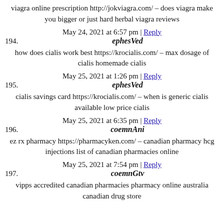viagra online prescription http://jokviagra.com/ – does viagra make you bigger or just hard herbal viagra reviews
May 24, 2021 at 6:57 pm | Reply
194. ephesVed
how does cialis work best https://krocialis.com/ – max dosage of cialis homemade cialis
May 25, 2021 at 1:26 pm | Reply
195. ephesVed
cialis savings card https://krocialis.com/ – when is generic cialis available low price cialis
May 25, 2021 at 6:35 pm | Reply
196. coemnAni
ez rx pharmacy https://pharmacyken.com/ – canadian pharmacy hcg injections list of canadian pharmacies online
May 25, 2021 at 7:54 pm | Reply
197. coemnGtv
vipps accredited canadian pharmacies pharmacy online australia canadian drug store